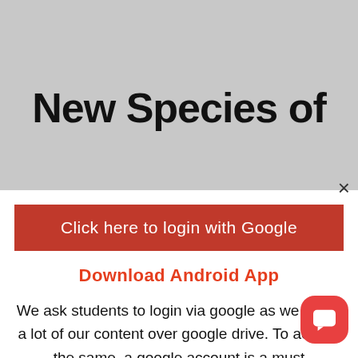New Species of
×
Click here to login with Google
Download Android App
We ask students to login via google as we share a lot of our content over google drive. To access the same, a google account is a must
November 20, 2017   The Hindu
NewsC